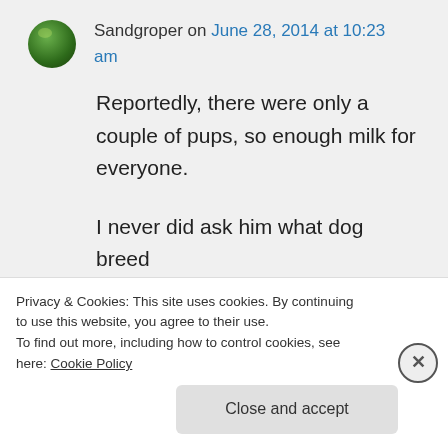Sandgroper on June 28, 2014 at 10:23 am
Reportedly, there were only a couple of pups, so enough milk for everyone.

I never did ask him what dog breed it was, which was on obvious omission on my part. It had to be a fairly big one, I guess, to produce
Privacy & Cookies: This site uses cookies. By continuing to use this website, you agree to their use.
To find out more, including how to control cookies, see here: Cookie Policy
Close and accept